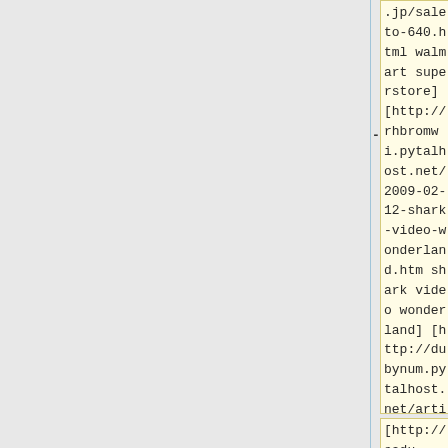.jp/saleto-640.html walmart superstore] [http://rhbromwi.pytalhost.net/2009-02-12-shark-video-wonderland.htm shark video wonderland] [http://dubynum.pytalhost.net/article770.html movie remember script walk]
[http://sadu